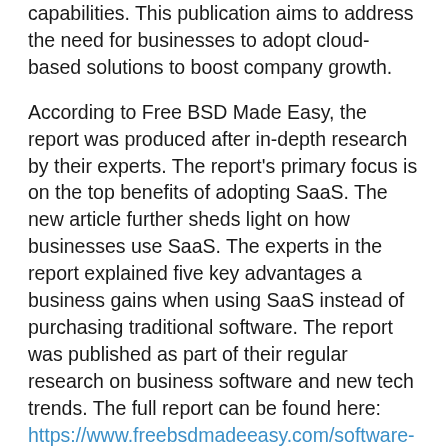capabilities. This publication aims to address the need for businesses to adopt cloud-based solutions to boost company growth.
According to Free BSD Made Easy, the report was produced after in-depth research by their experts. The report's primary focus is on the top benefits of adopting SaaS. The new article further sheds light on how businesses use SaaS. The experts in the report explained five key advantages a business gains when using SaaS instead of purchasing traditional software. The report was published as part of their regular research on business software and new tech trends. The full report can be found here: https://www.freebsdmadeeasy.com/software-as-a-service-advantages/.
“The publication analyzes the benefits and capabilities of SaaS for businesses. It helps business owners weigh the pros and cons so they can better decide which solution works for their enterprise,” said Clarence McDaniels, Editor-in-Chief of Free BSD Made Easy.